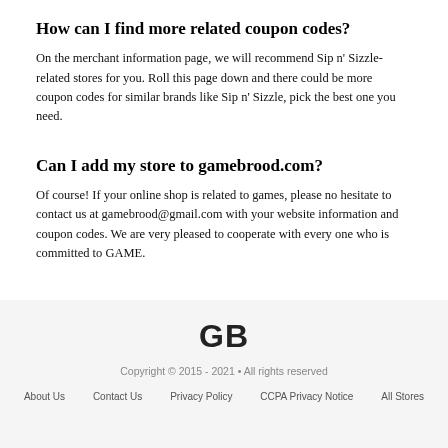How can I find more related coupon codes?
On the merchant information page, we will recommend Sip n' Sizzle-related stores for you. Roll this page down and there could be more coupon codes for similar brands like Sip n' Sizzle, pick the best one you need.
Can I add my store to gamebrood.com?
Of course! If your online shop is related to games, please no hesitate to contact us at gamebrood@gmail.com with your website information and coupon codes. We are very pleased to cooperate with every one who is committed to GAME.
GB
Copyright © 2015 - 2021 • All rights reserved
About Us   Contact Us   Privacy Policy   CCPA Privacy Notice   All Stores